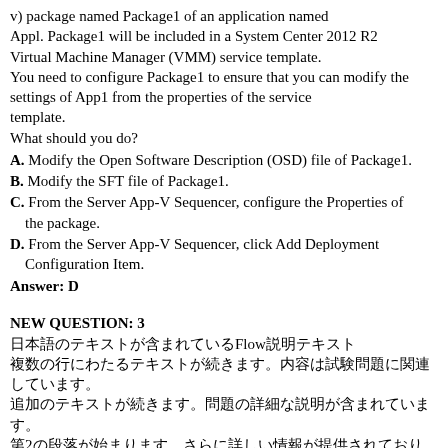v) package named Package1 of an application named Appl. Package1 will be included in a System Center 2012 R2 Virtual Machine Manager (VMM) service template. You need to configure Package1 to ensure that you can modify the settings of App1 from the properties of the service template. What should you do?
A. Modify the Open Software Description (OSD) file of Package1.
B. Modify the SFT file of Package1.
C. From the Server App-V Sequencer, configure the Properties of the package.
D. From the Server App-V Sequencer, click Add Deployment Configuration Item.
Answer: D
NEW QUESTION: 3
日本語のテキストが含まれているFlowの説明テキスト
複数の行にわたるテキストが続きます。内容は試験問題に関連しています。
追加のテキストが続きます。問題の詳細な説明が含まれています。
第2の段落が始まります。さらに詳しい情報が提供されており、試験の準備に役立ちます。
このテキストは少なくとも1つの重要な概念を説明しています。
A. 選択肢一
B. 選択肢の二
C. 選択肢の三つ目
D. 選